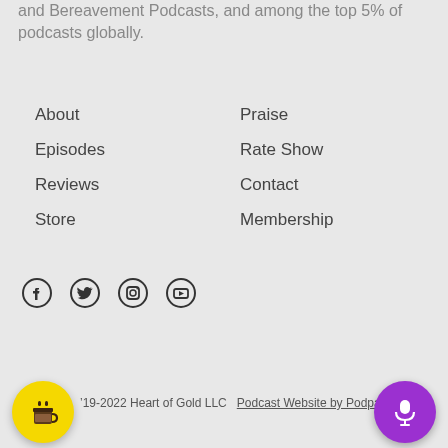and Bereavement Podcasts, and among the top 5% of podcasts globally.
About
Episodes
Reviews
Store
Praise
Rate Show
Contact
Membership
[Figure (other): Social media icons: Facebook, Twitter, Instagram, YouTube]
2019-2022 Heart of Gold LLC   Podcast Website by Podpa...